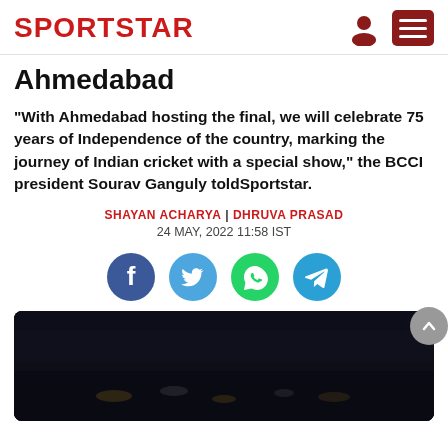SPORTSTAR
Ahmedabad
“With Ahmedabad hosting the final, we will celebrate 75 years of Independence of the country, marking the journey of Indian cricket with a special show,” the BCCI president Sourav Ganguly toldSportstar.
SHAYAN ACHARYA | DHRUVA PRASAD
24 MAY, 2022 11:58 IST
[Figure (other): Social media share icons: Facebook, Twitter, WhatsApp, Telegram]
[Figure (photo): Dark image of a cricket stadium crowd at night with lights visible]